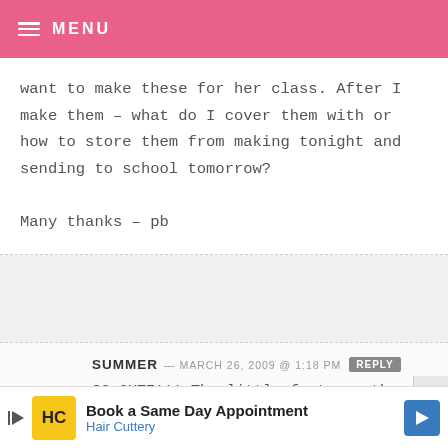MENU
want to make these for her class. After I make them – what do I cover them with or how to store them from making tonight and sending to school tomorrow?

Many thanks – pb
SUMMER — MARCH 26, 2009 @ 1:18 PM REPLY
SO CUTE!!! The little feet are the best! I love em without the sticks too! I just
[Figure (other): Advertisement banner for Hair Cuttery: Book a Same Day Appointment]